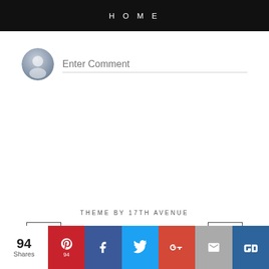HOME
[Figure (screenshot): Comment input area with circular avatar icon and 'Enter Comment' placeholder text with underline]
[Figure (screenshot): Navigation previous button (left arrow <) on the left and next button (right arrow >) on the right]
THEME BY 17TH AVENUE
[Figure (infographic): Share bar with 94 Shares count and social media buttons: Pinterest (94), Facebook, Twitter, Google+, Email, Bloglovin]